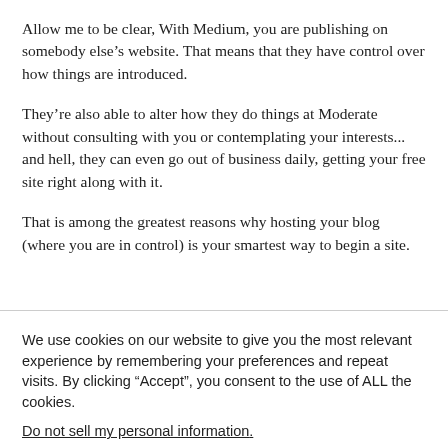Allow me to be clear, With Medium, you are publishing on somebody else’s website. That means that they have control over how things are introduced.
They’re also able to alter how they do things at Moderate without consulting with you or contemplating your interests... and hell, they can even go out of business daily, getting your free site right along with it.
That is among the greatest reasons why hosting your blog (where you are in control) is your smartest way to begin a site.
We use cookies on our website to give you the most relevant experience by remembering your preferences and repeat visits. By clicking “Accept”, you consent to the use of ALL the cookies.
Do not sell my personal information.